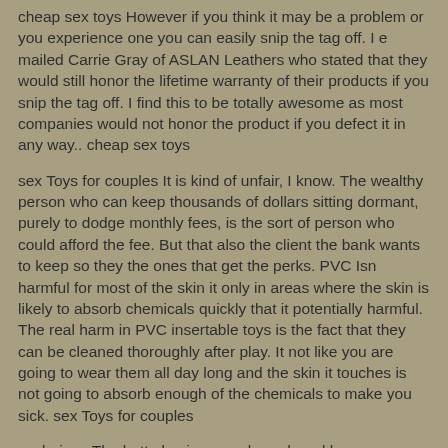cheap sex toys However if you think it may be a problem or you experience one you can easily snip the tag off. I e mailed Carrie Gray of ASLAN Leathers who stated that they would still honor the lifetime warranty of their products if you snip the tag off. I find this to be totally awesome as most companies would not honor the product if you defect it in any way.. cheap sex toys
sex Toys for couples It is kind of unfair, I know. The wealthy person who can keep thousands of dollars sitting dormant, purely to dodge monthly fees, is the sort of person who could afford the fee. But that also the client the bank wants to keep so they the ones that get the perks. PVC Isn harmful for most of the skin it only in areas where the skin is likely to absorb chemicals quickly that it potentially harmful. The real harm in PVC insertable toys is the fact that they can be cleaned thoroughly after play. It not like you are going to wear them all day long and the skin it touches is not going to absorb enough of the chemicals to make you sick. sex Toys for couples
cock rings The butt plug is cone shaped, and has a